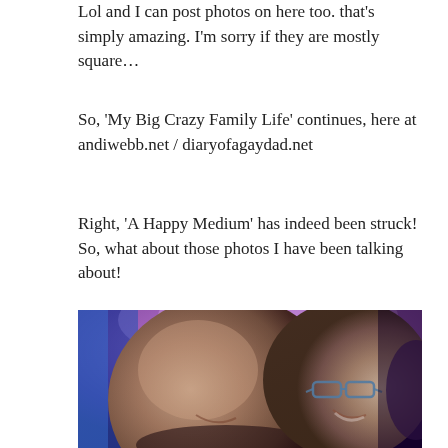Lol and I can post photos on here too. that's simply amazing. I'm sorry if they are mostly square...
So, 'My Big Crazy Family Life' continues, here at andiwebb.net / diaryofagaydad.net
Right, 'A Happy Medium' has indeed been struck! So, what about those photos I have been talking about!
[Figure (photo): A selfie of two bald men smiling close together, with purple and blue ambient lighting in the background. One man is on the left, the other on the right wearing glasses.]